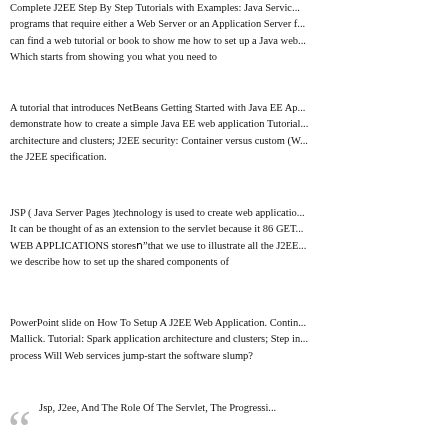Complete J2EE Step By Step Tutorials with Examples: Java Servlets programs that require either a Web Server or an Application Server for can find a web tutorial or book to show me how to set up a Java web Which starts from showing you what you need to
A tutorial that introduces NetBeans Getting Started with Java EE App demonstrate how to create a simple Java EE web application Tutorial architecture and clusters; J2EE security: Container versus custom (W the J2EE specification.
JSP ( Java Server Pages )technology is used to create web application It can be thought of as an extension to the servlet because it 86 GET WEB APPLICATIONS storeвЂ"that we use to illustrate all the J2EE we describe how to set up the shared components of
PowerPoint slide on How To Setup A J2EE Web Application. Contin Mallick. Tutorial: Spark application architecture and clusters; Step in process Will Web services jump-start the software slump?
Jsp, J2ee, And The Role Of The Servlet, The Progressi